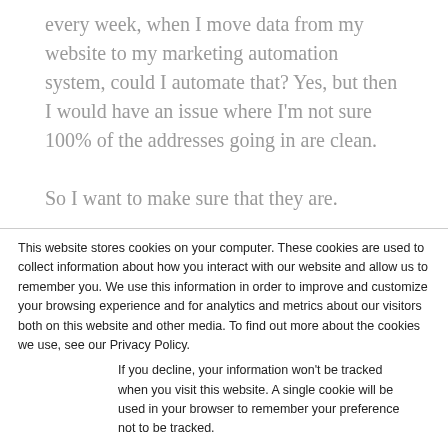every week, when I move data from my website to my marketing automation system, could I automate that? Yes, but then I would have an issue where I'm not sure 100% of the addresses going in are clean.

So I want to make sure that they are.
This website stores cookies on your computer. These cookies are used to collect information about how you interact with our website and allow us to remember you. We use this information in order to improve and customize your browsing experience and for analytics and metrics about our visitors both on this website and other media. To find out more about the cookies we use, see our Privacy Policy.
If you decline, your information won't be tracked when you visit this website. A single cookie will be used in your browser to remember your preference not to be tracked.
Accept
Decline